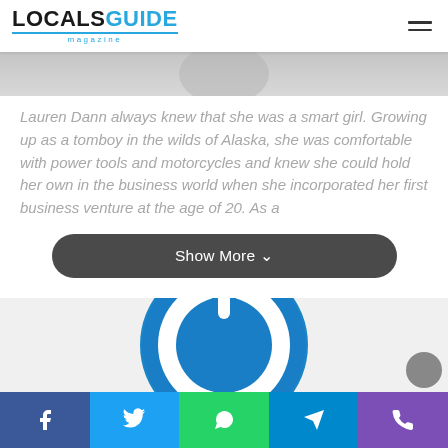LOCALS GUIDE magazine
Lauren Dann always knew that she was a smart girl. Growing up as a tomboy in the wilds of Alaska, she was comfortable with power tools and motorcycles and knew she could hold her own in the business world when she incorporated her first business venture at the age of 20. As a
Show More
[Figure (logo): Blue circular power button icon / logo]
Social share bar: Facebook, Twitter, WhatsApp, Telegram, Phone